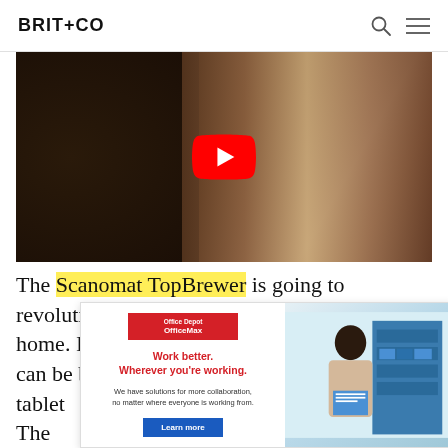BRIT+CO
[Figure (screenshot): Video thumbnail showing coffee beans in a glass container on the left and a clear glass on a wooden surface on the right, with a YouTube red play button overlay in the center]
The Scanomat TopBrewer is going to revolutionize the way you make coffee at home. It's a fully automatic coffee brewer that can be built into any tablet ... e. The minim ... ing.
[Figure (photo): Office Depot OfficeMax advertisement. Text reads: 'Work better. Wherever you're working. We have solutions for more collaboration, no matter where everyone is working from.' with a Learn more button and a photo of a woman looking at documents in an office/storage setting.]